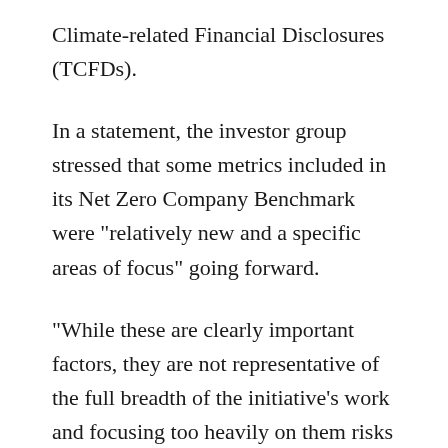Climate-related Financial Disclosures (TCFDs).
In a statement, the investor group stressed that some metrics included in its Net Zero Company Benchmark were "relatively new and a specific areas of focus" going forward.
"While these are clearly important factors, they are not representative of the full breadth of the initiative's work and focusing too heavily on them risks giving a rather one-dimensional account which does not fully reflect the wider impact that it has had to date," it said.
"Overall, there is no doubt that there is still urgent